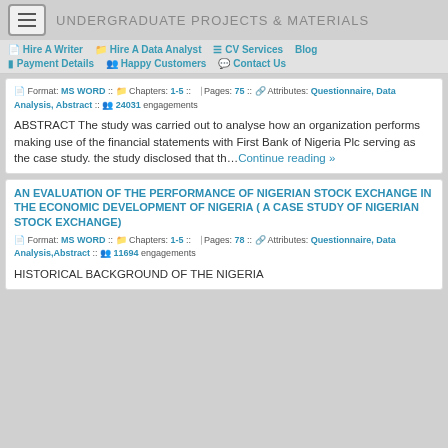UNDERGRADUATE PROJECTS & MATERIALS
Hire A Writer | Hire A Data Analyst | CV Services | Blog | Payment Details | Happy Customers | Contact Us
Format: MS WORD :: Chapters: 1-5 :: Pages: 75 :: Attributes: Questionnaire, Data Analysis, Abstract :: 24031 engagements
ABSTRACT The study was carried out to analyse how an organization performs making use of the financial statements with First Bank of Nigeria Plc serving as the case study. the study disclosed that th...Continue reading »
AN EVALUATION OF THE PERFORMANCE OF NIGERIAN STOCK EXCHANGE IN THE ECONOMIC DEVELOPMENT OF NIGERIA ( A CASE STUDY OF NIGERIAN STOCK EXCHANGE)
Format: MS WORD :: Chapters: 1-5 :: Pages: 78 :: Attributes: Questionnaire, Data Analysis,Abstract :: 11694 engagements
HISTORICAL BACKGROUND OF THE NIGERIA